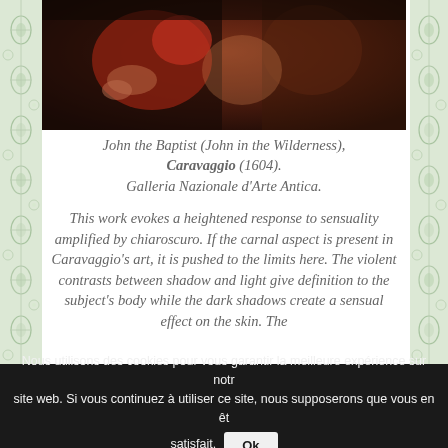[Figure (photo): Partial view of Caravaggio's painting John the Baptist (John in the Wilderness), showing figures in dramatic chiaroscuro with deep reds and dark shadows]
John the Baptist (John in the Wilderness), Caravaggio (1604).
Galleria Nazionale d'Arte Antica.
This work evokes a heightened response to sensuality amplified by chiaroscuro. If the carnal aspect is present in Caravaggio's art, it is pushed to the limits here. The violent contrasts between shadow and light give definition to the subject's body while the dark shadows create a sensual effect on the skin. The
Nous utilisons des cookies pour vous garantir la meilleure expérience sur notre site web. Si vous continuez à utiliser ce site, nous supposerons que vous en êtes satisfait. Ok